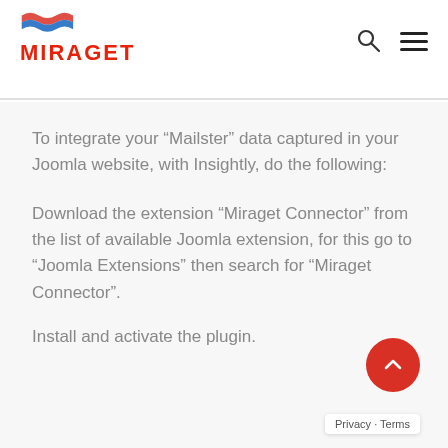[Figure (logo): Miraget logo with red flag/wave graphic above and red text 'MIRAGET' below]
To integrate your “Mailster” data captured in your Joomla website, with Insightly, do the following:
Download the extension “Miraget Connector” from the list of available Joomla extension, for this go to “Joomla Extensions” then search for “Miraget Connector”.
Install and activate the plugin.